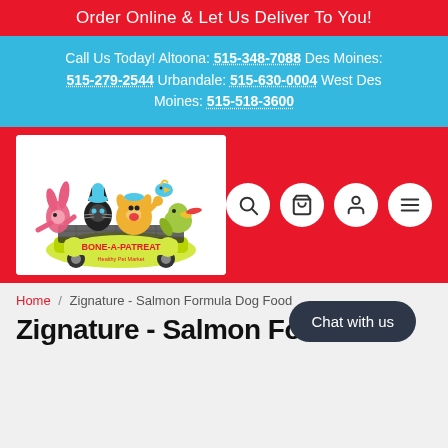Order Online & Let Us Deliver To You!
Call Us Today! Altoona: 515-348-7088 Des Moines: 515-279-2544 Urbandale: 515-630-0004 West Des Moines: 515-518-3600
[Figure (logo): Bone-A-Patreat Healthy Pet Market logo with cartoon animals in a shopping cart]
breadcrumb navigation with search, cart, user, and menu icons
Home / Zignature - Salmon Formula Dog Food
Zignature - Salmon Formula
Chat with us